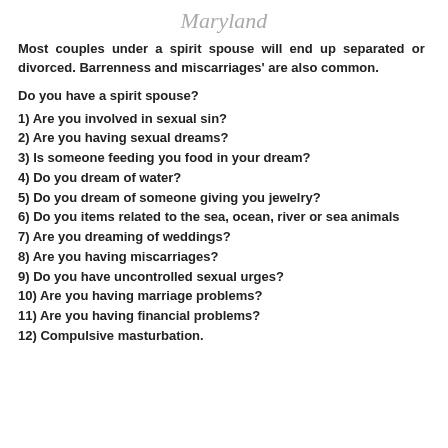Maryland
Most couples under a spirit spouse will end up separated or divorced. Barrenness and miscarriages' are also common.
Do you have a spirit spouse?
1) Are you involved in sexual sin?
2) Are you having sexual dreams?
3) Is someone feeding you food in your dream?
4) Do you dream of water?
5) Do you dream of someone giving you jewelry?
6) Do you items related to the sea, ocean, river or sea animals
7) Are you dreaming of weddings?
8) Are you having miscarriages?
9) Do you have uncontrolled sexual urges?
10) Are you having marriage problems?
11) Are you having financial problems?
12) Compulsive masturbation.